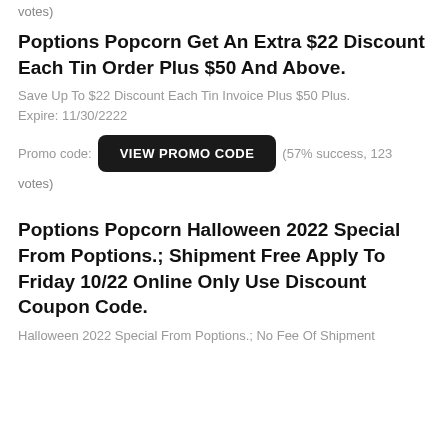votes)
Poptions Popcorn Get An Extra $22 Discount Each Tin Order Plus $50 And Above.
Save Up To $22 Discount Each Tin Invoice Plus $50 Plus. Expire: 11/30/2222
Promo code: VIEW PROMO CODE (57% success, 123 votes)
Poptions Popcorn Halloween 2022 Special From Poptions.; Shipment Free Apply To Friday 10/22 Online Only Use Discount Coupon Code.
Halloween 2022 Special From Poptions.; No Fee Of Shipment